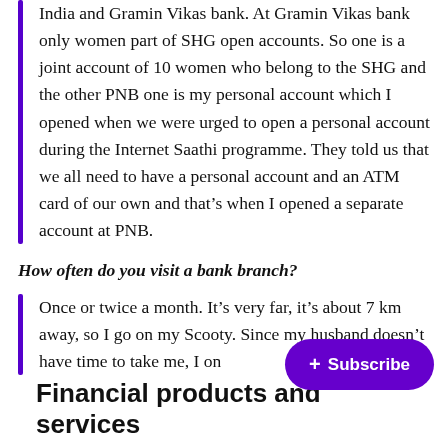India and Gramin Vikas bank. At Gramin Vikas bank only women part of SHG open accounts. So one is a joint account of 10 women who belong to the SHG and the other PNB one is my personal account which I opened when we were urged to open a personal account during the Internet Saathi programme. They told us that we all need to have a personal account and an ATM card of our own and that's when I opened a separate account at PNB.
How often do you visit a bank branch?
Once or twice a month. It's very far, it's about 7 km away, so I go on my Scooty. Since my husband doesn't have time to take me, I on...
Financial products and services